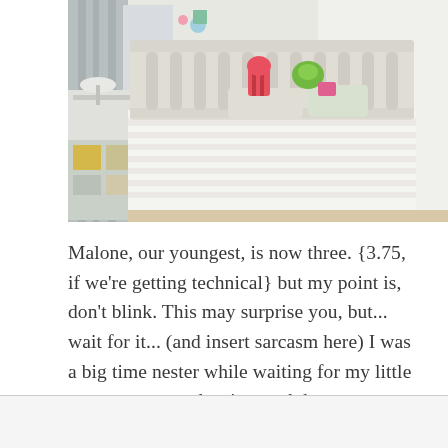[Figure (photo): A child's bedroom with a white metal bed headboard, white ruffled bedding, colorful stuffed animals and pillows, a white side table with a lamp, gray curtains, and what appears to be a storage shelving unit.]
Malone, our youngest, is now three. {3.75, if we're getting technical} but my point is, don't blink. This may surprise you, but... wait for it... (and insert sarcasm here) I was a big time nester while waiting for my little ones to grow and arrive, and those are some memories I will never forget with each pregnancy. But one of my very favorite projects I made for each child, was a handmade mobile.